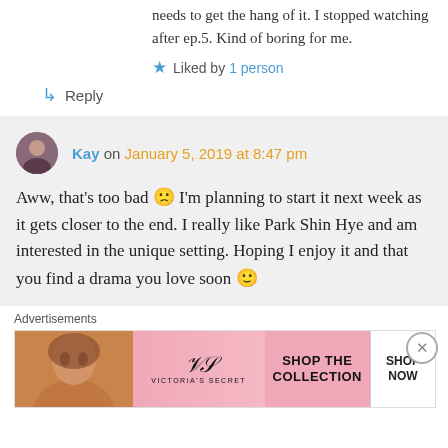needs to get the hang of it. I stopped watching after ep.5. Kind of boring for me.
Liked by 1 person
Reply
Kay on January 5, 2019 at 8:47 pm
Aww, that's too bad 🙁 I'm planning to start it next week as it gets closer to the end. I really like Park Shin Hye and am interested in the unique setting. Hoping I enjoy it and that you find a drama you love soon 🙂
Advertisements
[Figure (photo): Victoria's Secret advertisement banner with model, VS logo, 'SHOP THE COLLECTION' text and 'SHOP NOW' button]